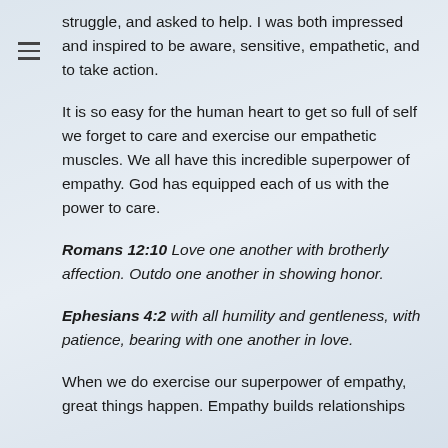struggle, and asked to help. I was both impressed and inspired to be aware, sensitive, empathetic, and to take action.
It is so easy for the human heart to get so full of self we forget to care and exercise our empathetic muscles. We all have this incredible superpower of empathy. God has equipped each of us with the power to care.
Romans 12:10 Love one another with brotherly affection. Outdo one another in showing honor.
Ephesians 4:2 with all humility and gentleness, with patience, bearing with one another in love.
When we do exercise our superpower of empathy, great things happen. Empathy builds relationships